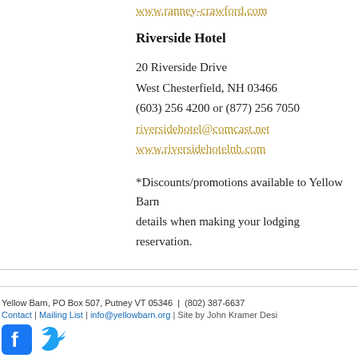www.ranney-crawford.com
Riverside Hotel
20 Riverside Drive
West Chesterfield, NH 03466
(603) 256 4200 or (877) 256 7050iversidehotel@comcast.net
www.riversidehotelnh.com
*Discounts/promotions available to Yellow Barn details when making your lodging reservation.
Yellow Barn, PO Box 507, Putney VT 05346  |  (802) 387-6637
Contact | Mailing List | info@yellowbarn.org | Site by John Kramer Desi